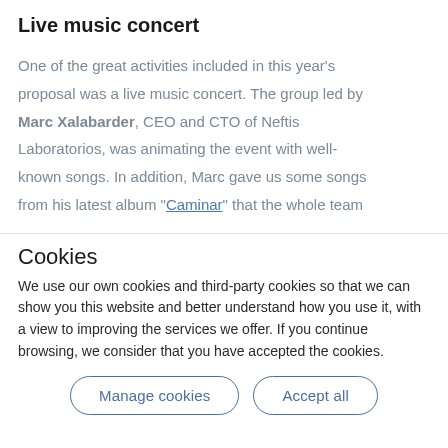Live music concert
One of the great activities included in this year's proposal was a live music concert. The group led by Marc Xalabarder, CEO and CTO of Neftis Laboratorios, was animating the event with well-known songs. In addition, Marc gave us some songs from his latest album "Caminar" that the whole team
Cookies
We use our own cookies and third-party cookies so that we can show you this website and better understand how you use it, with a view to improving the services we offer. If you continue browsing, we consider that you have accepted the cookies.
Manage cookies | Accept all